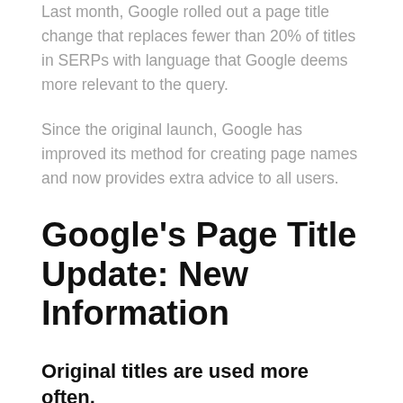Last month, Google rolled out a page title change that replaces fewer than 20% of titles in SERPs with language that Google deems more relevant to the query.
Since the original launch, Google has improved its method for creating page names and now provides extra advice to all users.
Google's Page Title Update: New Information
Original titles are used more often.
Following the improvements to the page title update, the original titles of webpages will be utilized more often.